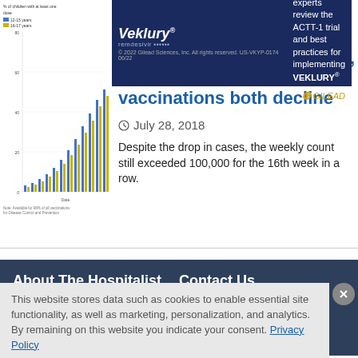[Figure (bar-chart): Partially visible bar chart showing weekly COVID/disease case counts, with colored bars (blue, yellow-green) and small legend text. Chart area partially cropped on left side.]
[Figure (other): Veklury (remdesivir) advertisement banner: 'Watch experts review the ACTT-1 trial and best practices for implementing VEKLURY®' with Gilead logo. © 2022 Gilead Sciences, Inc. All rights reserved. US-VKYP-0174 06/22]
…ses, vaccinations both decline
July 28, 2018
Despite the drop in cases, the weekly count still exceeded 100,000 for the 16th week in a row.
About The Hospitalist   Contact Us   The Editors   Editorial Board   Authors   Style Guide for Authors   Subscribe
This website stores data such as cookies to enable essential site functionality, as well as marketing, personalization, and analytics. By remaining on this website you indicate your consent. Privacy Policy